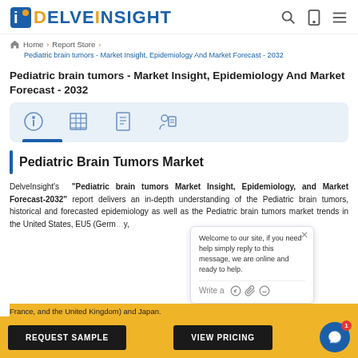[Figure (logo): DelveInsight logo with blue D icon and text]
Home › Report Store › Pediatric brain tumors - Market Insight, Epidemiology And Market Forecast - 2032
Pediatric brain tumors - Market Insight, Epidemiology And Market Forecast - 2032
[Figure (infographic): Tab bar with four icons: info, table/grid, document/checklist, user-report. Blue underline under first icon.]
Pediatric Brain Tumors Market
DelveInsight's "Pediatric brain tumors Market Insight, Epidemiology, and Market Forecast-2032" report delivers an in-depth understanding of the Pediatric brain tumors, historical and forecasted epidemiology as well as the Pediatric brain tumors market trends in the United States, EU5 (Germany, Spain, Italy, France, and the United Kingdom) and Japan.
The Pediatric brain tumors market report provides current...